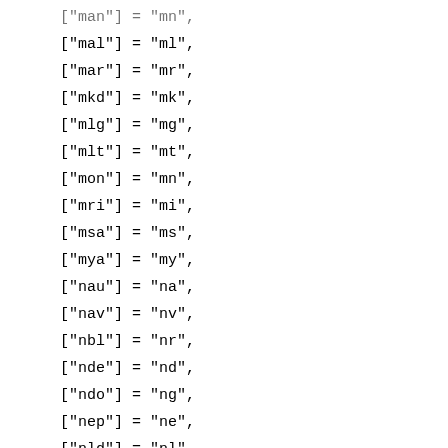["man"] = "mn", (partial, top)
["mal"] = "ml",
["mar"] = "mr",
["mkd"] = "mk",
["mlg"] = "mg",
["mlt"] = "mt",
["mon"] = "mn",
["mri"] = "mi",
["msa"] = "ms",
["mya"] = "my",
["nau"] = "na",
["nav"] = "nv",
["nbl"] = "nr",
["nde"] = "nd",
["ndo"] = "ng",
["nep"] = "ne",
["nld"] = "nl",
["nno"] = "nn", (partial, bottom)